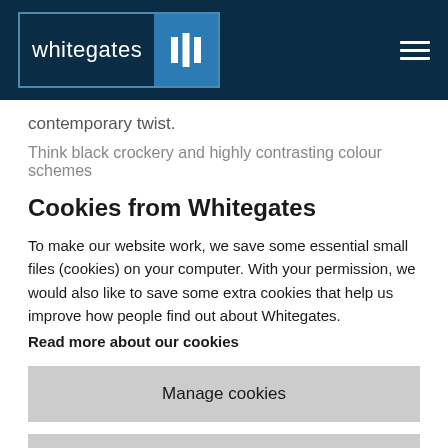whitegates [logo with navigation icon]
contemporary twist.
Think black crockery and highly contrasting colour schemes
Cookies from Whitegates
To make our website work, we save some essential small files (cookies) on your computer. With your permission, we would also like to save some extra cookies that help us improve how people find out about Whitegates.
Read more about our cookies
Manage cookies
Accept all